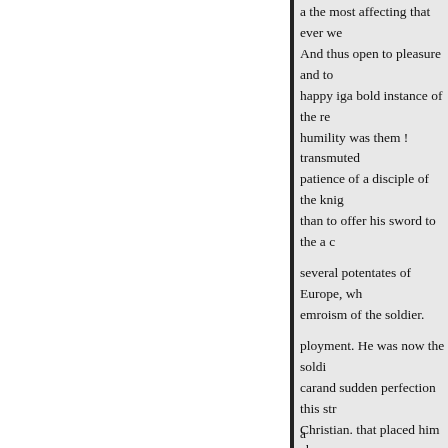a the most affecting that ever we And thus open to pleasure and to happy iga bold instance of the re humility was them ! transmuted patience of a disciple of the knig than to offer his sword to the a c several potentates of Europe, wh emroism of the soldier. ployment. He was now the soldi carand sudden perfection this str Christian. that placed him above certainly not too under spread ba became all but a danger, open to to court, partaking the two order unite in the warriors might be fo fostered this spirit of and St John
Vow.
a